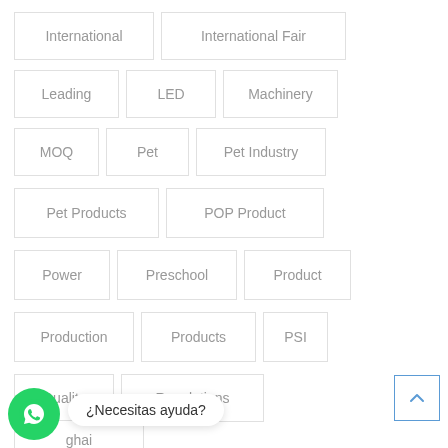International
International Fair
Leading
LED
Machinery
MOQ
Pet
Pet Industry
Pet Products
POP Product
Power
Preschool
Product
Production
Products
PSI
Quality
Regulations
ghai
¿Necesitas ayuda?